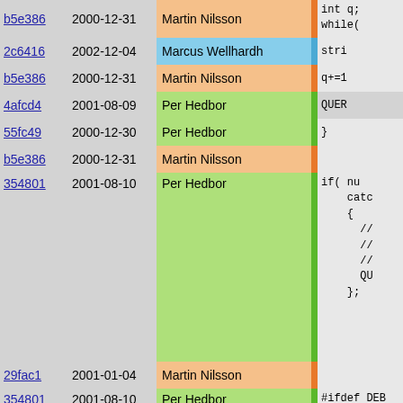| hash | date | author | sep | code |
| --- | --- | --- | --- | --- |
| b5e386 | 2000-12-31 | Martin Nilsson | | | int q;
while( |
| 2c6416 | 2002-12-04 | Marcus Wellhardh | | | stri |
| b5e386 | 2000-12-31 | Martin Nilsson | | | q+=1 |
| 4afcd4 | 2001-08-09 | Per Hedbor | | | QUER |
| 55fc49 | 2000-12-30 | Per Hedbor | | | } |
| b5e386 | 2000-12-31 | Martin Nilsson | | |  |
| 354801 | 2001-08-10 | Per Hedbor | | | if( nu
    catc
    {
      //
      //
      //
      QU
    }; |
| 29fac1 | 2001-01-04 | Martin Nilsson | | |  |
| 354801 | 2001-08-10 | Per Hedbor | | | #ifdef DEB
    report |
| eae43a | 2001-08-13 | Per Hedbor | | |  |
| 354801 | 2001-08-10 | Per Hedbor | | |  |
| 1f58d0 | 2000-01-02 | Martin Nilsson | | | } |